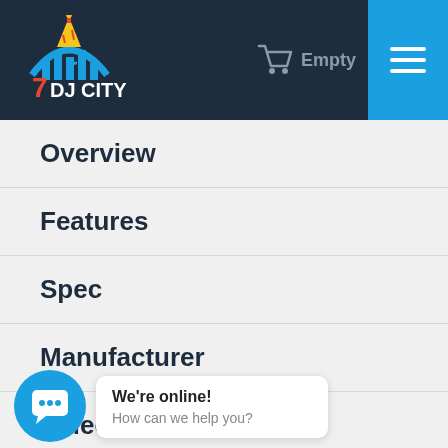DJ City — Empty (cart) — Menu
Overview
Features
Spec
Manufacturer
Videos
We're online! How can we help you?